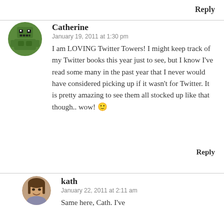Reply
[Figure (illustration): Green pixel-art avatar icon for user Catherine]
Catherine
January 19, 2011 at 1:30 pm
I am LOVING Twitter Towers! I might keep track of my Twitter books this year just to see, but I know I've read some many in the past year that I never would have considered picking up if it wasn't for Twitter. It is pretty amazing to see them all stocked up like that though.. wow! 🙂
Reply
[Figure (photo): Round profile photo of kath, a woman with brown hair smiling]
kath
January 22, 2011 at 2:11 am
Same here, Cath. I've